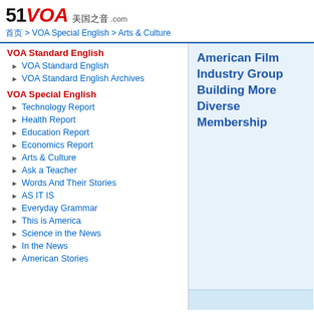[Figure (logo): 51VOA 美国之音 .com logo with red VOA text]
首页 > VOA Special English > Arts & Culture
VOA Standard English
VOA Standard English
VOA Standard English Archives
VOA Special English
Technology Report
Health Report
Education Report
Economics Report
Arts & Culture
Ask a Teacher
Words And Their Stories
AS IT IS
Everyday Grammar
This is America
Science in the News
In the News
American Stories
American Film Industry Group Building More Diverse Membership